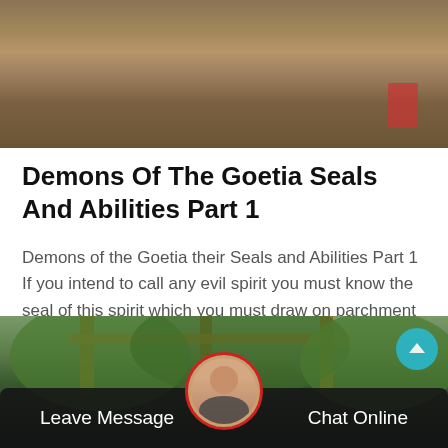[Figure (photo): A dirt/soil ground scene with debris, photographed from above. A red object visible in the bottom right corner.]
Demons Of The Goetia Seals And Abilities Part 1
Demons of the Goetia their Seals and Abilities Part 1 If you intend to call any evil spirit you must know the seal of this spirit which you must draw on parchment during the ritual The following…
Read More
[Figure (photo): A wooden structure scene outdoors with green trees in the background. Bottom portion has a dark semi-transparent bar showing 'Leave Message' on the left and 'Chat Online' on the right, with a customer service avatar in the center. A teal scroll-to-top button is visible in the upper right.]